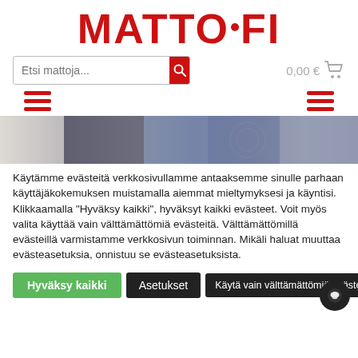MATTO·FI
[Figure (screenshot): Search bar with placeholder 'Etsi mattoja...' and a red search button, and a cart showing '0,00 €']
[Figure (screenshot): Two red hamburger menu icons on left and right]
[Figure (photo): Banner strip showing carpet/rug textures in grey, blue and patterned styles]
Käytämme evästeitä verkkosivullamme antaaksemme sinulle parhaan käyttäjäkokemuksen muistamalla aiemmat mieltymyksesi ja käyntisi. Klikkaamalla "Hyväksy kaikki", hyväksyt kaikki evästeet. Voit myös valita käyttää vain välttämättömiä evästeitä. Välttämättömillä evästeillä varmistamme verkkosivun toiminnan. Mikäli haluat muuttaa evästeasetuksia, onnistuu se evästeasetuksista.
Hyväksy kaikki
Asetukset
Käytä vain välttämättömiä evästeitä